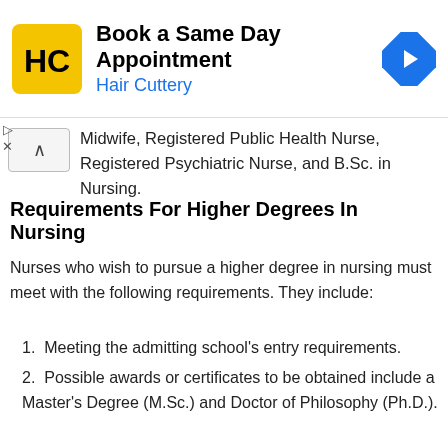[Figure (other): Hair Cuttery advertisement banner with logo, 'Book a Same Day Appointment' heading, and navigation arrow icon]
Midwife, Registered Public Health Nurse, Registered Psychiatric Nurse, and B.Sc. in Nursing.
Requirements For Higher Degrees In Nursing
Nurses who wish to pursue a higher degree in nursing must meet with the following requirements. They include:
Meeting the admitting school's entry requirements.
Possible awards or certificates to be obtained include a Master's Degree (M.Sc.) and Doctor of Philosophy (Ph.D.).
Requirements For Professional Nursing Programs
The requirements for this include: